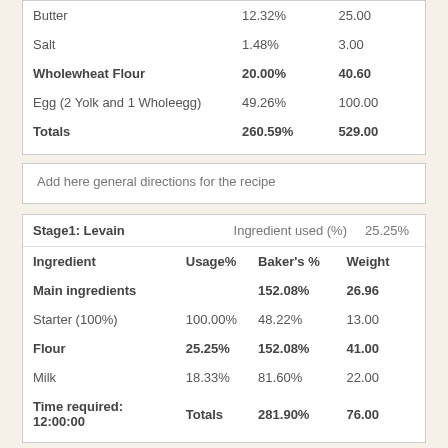|  |  |  |
| --- | --- | --- |
| Butter | 12.32% | 25.00 |
| Salt | 1.48% | 3.00 |
| Wholewheat Flour | 20.00% | 40.60 |
| Egg (2 Yolk and 1 Wholeegg) | 49.26% | 100.00 |
| Totals | 260.59% | 529.00 |
Add here general directions for the recipe
| Stage1: Levain | Ingredient used (%) | 25.25% |
| --- | --- | --- |
| Ingredient | Usage% | Baker's % | Weight |
| Main ingredients |  | 152.08% | 26.96 |
| Starter (100%) | 100.00% | 48.22% | 13.00 |
| Flour | 25.25% | 152.08% | 41.00 |
| Milk | 18.33% | 81.60% | 22.00 |
| Time required: 12:00:00 | Totals | 281.90% | 76.00 |